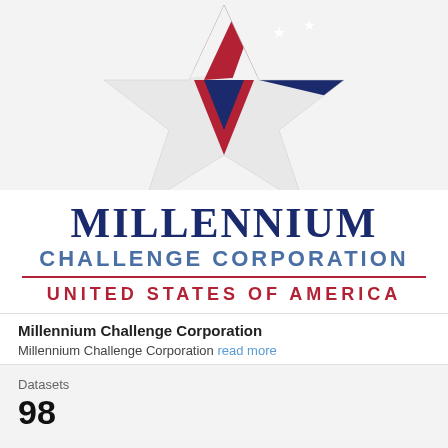[Figure (logo): Millennium Challenge Corporation logo: a star shape with American flag stripes (red and white) and blue field with white stars, on a light gray background]
MILLENNIUM
CHALLENGE CORPORATION
UNITED STATES OF AMERICA
Millennium Challenge Corporation
Millennium Challenge Corporation read more
Datasets
98